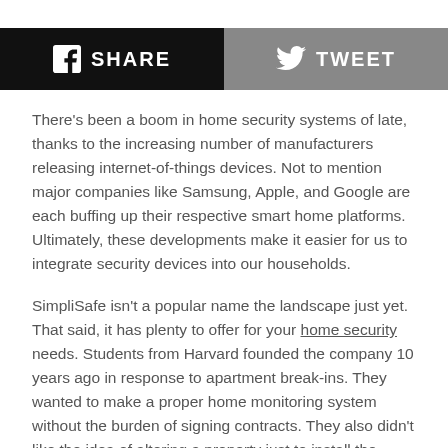[Figure (infographic): Social share bar with Facebook SHARE button (black) and Twitter TWEET button (grey)]
There's been a boom in home security systems of late, thanks to the increasing number of manufacturers releasing internet-of-things devices. Not to mention major companies like Samsung, Apple, and Google are each buffing up their respective smart home platforms. Ultimately, these developments make it easier for us to integrate security devices into our households.
SimpliSafe isn't a popular name the landscape just yet. That said, it has plenty to offer for your home security needs. Students from Harvard founded the company 10 years ago in response to apartment break-ins. They wanted to make a proper home monitoring system without the burden of signing contracts. They also didn't like the idea of altering a property just to install the device.